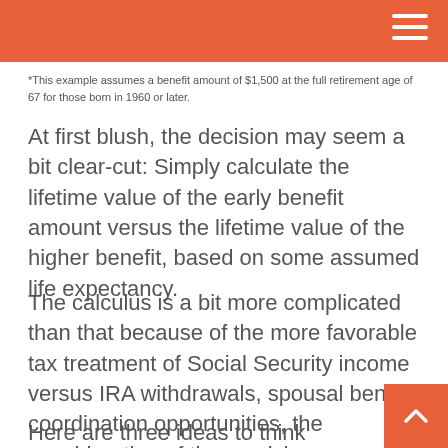*This example assumes a benefit amount of $1,500 at the full retirement age of 67 for those born in 1960 or later.
At first blush, the decision may seem a bit clear-cut: Simply calculate the lifetime value of the early benefit amount versus the lifetime value of the higher benefit, based on some assumed life expectancy.
The calculus is a bit more complicated than that because of the more favorable tax treatment of Social Security income versus IRA withdrawals, spousal benefit coordination opportunities, the consideration of the surviving spouse, and Social Security’s lifetime income guarantee that exists under current law.2
Here are three ideas to think about when making your decision: